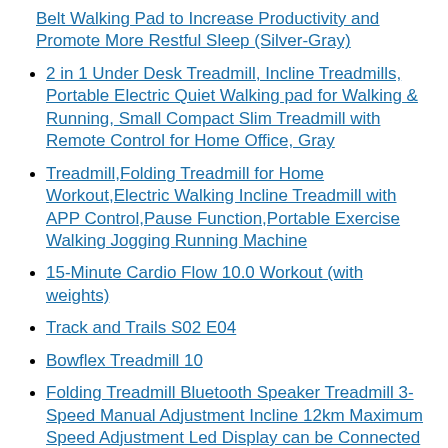Belt Walking Pad to Increase Productivity and Promote More Restful Sleep (Silver-Gray)
2 in 1 Under Desk Treadmill, Incline Treadmills, Portable Electric Quiet Walking pad for Walking & Running, Small Compact Slim Treadmill with Remote Control for Home Office, Gray
Treadmill,Folding Treadmill for Home Workout,Electric Walking Incline Treadmill with APP Control,Pause Function,Portable Exercise Walking Jogging Running Machine
15-Minute Cardio Flow 10.0 Workout (with weights)
Track and Trails S02 E04
Bowflex Treadmill 10
Folding Treadmill Bluetooth Speaker Treadmill 3-Speed Manual Adjustment Incline 12km Maximum Speed Adjustment Led Display can be Connected to Bluetooth Touch With 15 Display 2.0 km...